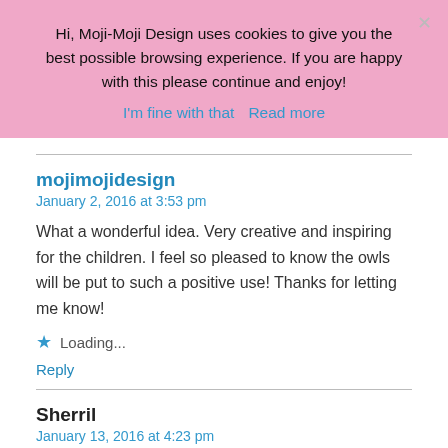Hi, Moji-Moji Design uses cookies to give you the best possible browsing experience. If you are happy with this please continue and enjoy!
I'm fine with that   Read more
mojimojidesign
January 2, 2016 at 3:53 pm
What a wonderful idea. Very creative and inspiring for the children. I feel so pleased to know the owls will be put to such a positive use! Thanks for letting me know!
Loading...
Reply
Sherril
January 13, 2016 at 4:23 pm
These are the cutest things I've seen in awhile. The matching